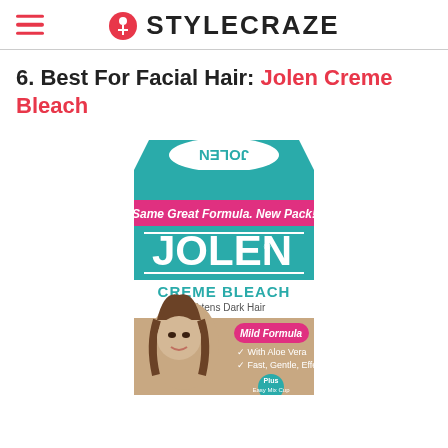STYLECRAZE
6. Best For Facial Hair: Jolen Creme Bleach
[Figure (photo): Product photo of Jolen Creme Bleach box in teal/pink packaging showing 'Same Great Formula. New Pack!', 'JOLEN', 'CREME BLEACH Lightens Dark Hair', 'Mild Formula', 'With Aloe Vera', 'Fast, Gentle, Effective', 'Plus Easy Mix Cup', with a woman's face visible on the lower portion of the box]